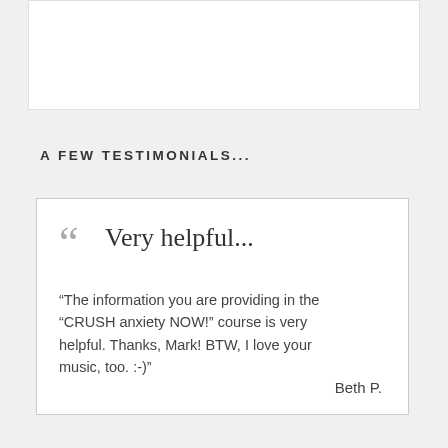A FEW TESTIMONIALS...
“Very helpful...” “The information you are providing in the “CRUSH anxiety NOW!” course is very helpful. Thanks, Mark! BTW, I love your music, too. :-)” Beth P.